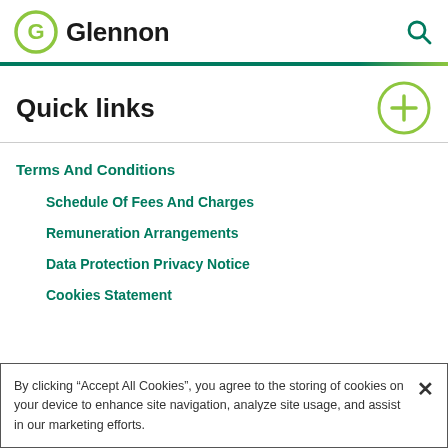[Figure (logo): Glennon logo with circular G icon in yellow-green and search icon on the right]
Quick links
Terms And Conditions
Schedule Of Fees And Charges
Remuneration Arrangements
Data Protection Privacy Notice
Cookies Statement
By clicking “Accept All Cookies”, you agree to the storing of cookies on your device to enhance site navigation, analyze site usage, and assist in our marketing efforts.